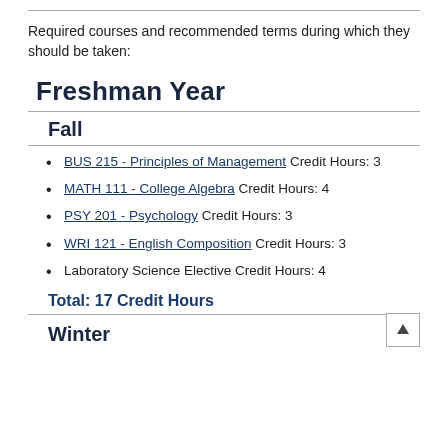Required courses and recommended terms during which they should be taken:
Freshman Year
Fall
BUS 215 - Principles of Management Credit Hours: 3
MATH 111 - College Algebra Credit Hours: 4
PSY 201 - Psychology Credit Hours: 3
WRI 121 - English Composition Credit Hours: 3
Laboratory Science Elective Credit Hours: 4
Total: 17 Credit Hours
Winter